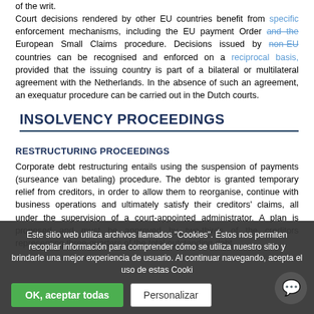of the writ. Court decisions rendered by other EU countries benefit from specific enforcement mechanisms, including the EU payment Order and the European Small Claims procedure. Decisions issued by non-EU countries can be recognised and enforced on a reciprocal basis, provided that the issuing country is part of a bilateral or multilateral agreement with the Netherlands. In the absence of such an agreement, an exequatur procedure can be carried out in the Dutch courts.
INSOLVENCY PROCEEDINGS
RESTRUCTURING PROCEEDINGS
Corporate debt restructuring entails using the suspension of payments (surseance van betaling) procedure. The debtor is granted temporary relief from creditors, in order to allow them to reorganise, continue with business operations and ultimately satisfy their creditors' claims, all under the supervision of a court-appointed administrator. A plan is proposed and must be approved by two-thirds of the creditors representing three-quarters of the total outstanding debt.
Este sitio web utiliza archivos llamados "Cookies". Éstos nos permiten recopilar información para comprender cómo se utiliza nuestro sitio y brindarle una mejor experiencia de usuario. Al continuar navegando, acepta el uso de estas Cookies OK, aceptar todas Personalizar